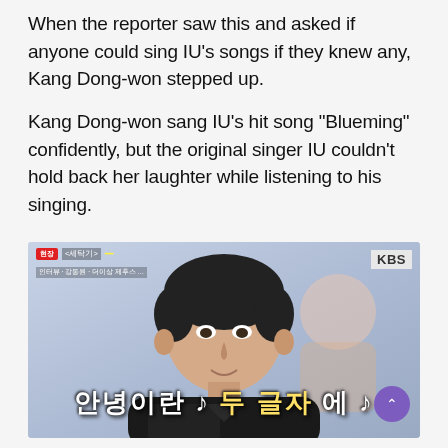When the reporter saw this and asked if anyone could sing IU's songs if they knew any, Kang Dong-won stepped up.
Kang Dong-won sang IU's hit song "Blueming" confidently, but the original singer IU couldn't hold back her laughter while listening to his singing.
[Figure (photo): Screenshot of a KBS TV program showing Kang Dong-won in a black leather jacket, smiling. Korean subtitle text reads: 안녕이란 ♪ 두 글자에 ♪. Top-left shows program badge. Top-right shows KBS logo. Purple scroll-to-top button visible in bottom right.]